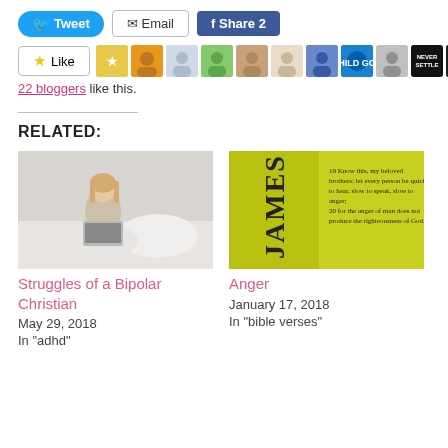[Figure (screenshot): Social share bar with Tweet, Email, and Share 2 buttons]
[Figure (screenshot): Like button followed by 11 blogger avatar thumbnails]
22 bloggers like this.
RELATED:
[Figure (photo): Photo of a blonde woman sitting cross-legged on a bed with a laptop]
Struggles of a Bipolar Christian
May 29, 2018
In "adhd"
[Figure (photo): Yellow/green book open to James 1 with text about anger]
Anger
January 17, 2018
In "bible verses"